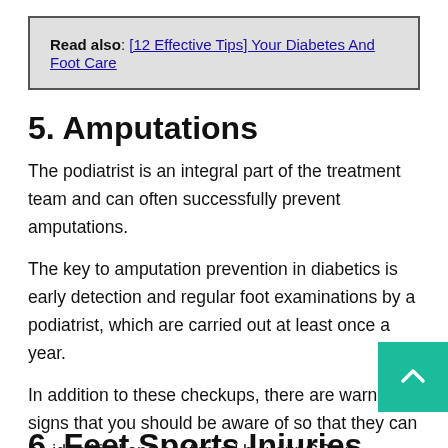Read also: [12 Effective Tips] Your Diabetes And Foot Care
5. Amputations
The podiatrist is an integral part of the treatment team and can often successfully prevent amputations.
The key to amputation prevention in diabetics is early detection and regular foot examinations by a podiatrist, which are carried out at least once a year.
In addition to these checkups, there are warning signs that you should be aware of so that they can be identified and confirmed by your GP or podiatris
6. Feet Sports Injuries